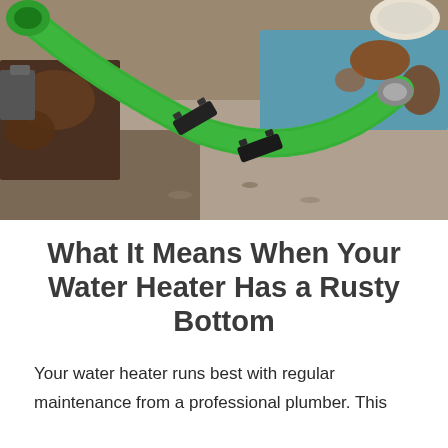[Figure (photo): Close-up photo of a green garden hose connected with black metal clamps to a rusted water heater or pipe fitting, resting on a concrete surface. There is visible rust and corrosion on metal surfaces, a blue painted pipe or equipment in the background, and a white circular cap visible at top right.]
What It Means When Your Water Heater Has a Rusty Bottom
Your water heater runs best with regular maintenance from a professional plumber. This